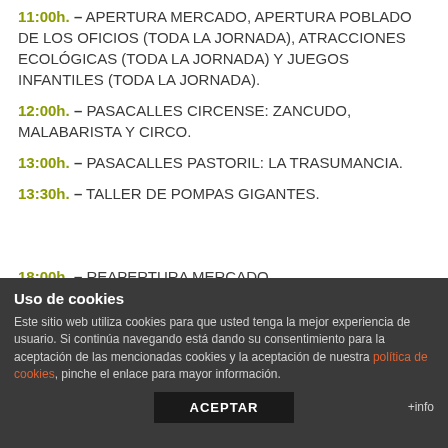11:00h. – APERTURA MERCADO, APERTURA POBLADO DE LOS OFICIOS (TODA LA JORNADA), ATRACCIONES ECOLÓGICAS (TODA LA JORNADA) Y JUEGOS INFANTILES (TODA LA JORNADA).
12:00h. – PASACALLES CIRCENSE: ZANCUDO, MALABARISTA Y CIRCO.
13:00h. – PASACALLES PASTORIL: LA TRASUMANCIA.
13:30h. – TALLER DE POMPAS GIGANTES.
18:00h. – REAPERTURA MERCADO.
18:30h. – PASACALLES: ZANCUDOS.
Uso de cookies
Este sitio web utiliza cookies para que usted tenga la mejor experiencia de usuario. Si continúa navegando está dando su consentimiento para la aceptación de las mencionadas cookies y la aceptación de nuestra política de cookies, pinche el enlace para mayor información.
ACEPTAR +info